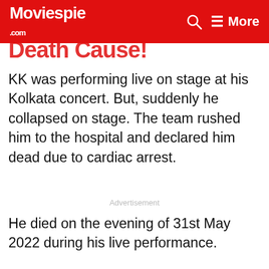Moviespie .com | More
Death Cause!
KK was performing live on stage at his Kolkata concert. But, suddenly he collapsed on stage. The team rushed him to the hospital and declared him dead due to cardiac arrest.
Advertisement
He died on the evening of 31st May 2022 during his live performance.
This is unbelievable... Singer KK die while performing at Kolkata. This is last stage of #kk